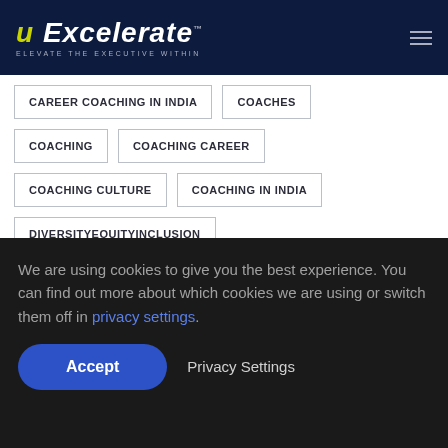u Excelerate — ELEVATE THE EXECUTIVE WITHIN
CAREER COACHING IN INDIA
COACHES
COACHING
COACHING CAREER
COACHING CULTURE
COACHING IN INDIA
DIVERSITYEQUITYINCLUSION
We are using cookies to give you the best experience. You can find out more about which cookies we are using or switch them off in privacy settings.
Accept
Privacy Settings